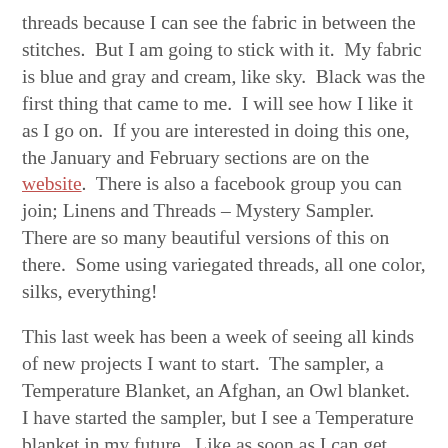threads because I can see the fabric in between the stitches.  But I am going to stick with it.  My fabric is blue and gray and cream, like sky.  Black was the first thing that came to me.  I will see how I like it as I go on.  If you are interested in doing this one, the January and February sections are on the website.  There is also a facebook group you can join; Linens and Threads – Mystery Sampler.  There are so many beautiful versions of this on there.  Some using variegated threads, all one color, silks, everything!
This last week has been a week of seeing all kinds of new projects I want to start.  The sampler, a Temperature Blanket, an Afghan, an Owl blanket.  I have started the sampler, but I see a Temperature blanket in my future.  Like as soon as I can get yarn 🙂